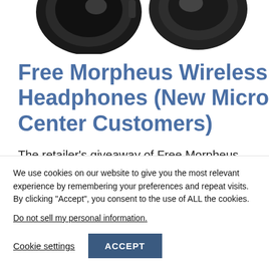[Figure (photo): Overhead view of black Morpheus wireless headphones, two ear cups visible against white background]
Free Morpheus Wireless Headphones (New Micro Center Customers)
The retailer's giveaway of Free Morpheus
We use cookies on our website to give you the most relevant experience by remembering your preferences and repeat visits. By clicking “Accept”, you consent to the use of ALL the cookies.
Do not sell my personal information.
Cookie settings   ACCEPT